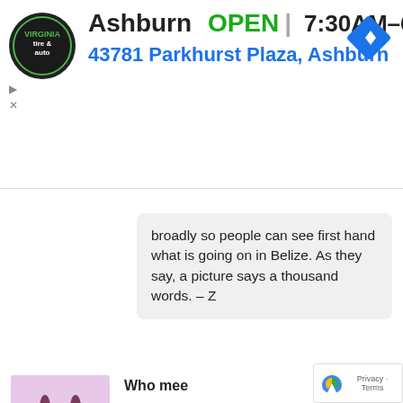[Figure (screenshot): Advertisement banner for Ashburn tire & auto shop showing logo, OPEN status, hours 7:30AM-6PM, address 43781 Parkhurst Plaza Ashburn, and navigation icon]
broadly so people can see first hand what is going on in Belize. As they say, a picture says a thousand words. – Z
[Figure (illustration): Cartoon avatar of a hippo-like creature with rabbit ears on pink/lavender background]
Who mee
January 10, 2013 at 7:23 am
Belize is so corrupt, such a shame. Drug dealer building major airport on Placencia peninsula. Ships to Mexico. Police are a gang.